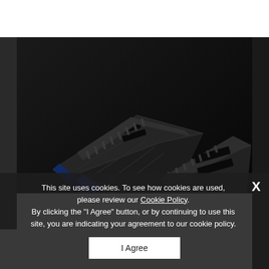[Figure (photo): Product photo of two black electronic hardware devices (gaming RAM or similar modules) with blue LED lighting accents on a dark/black background, photographed at an angle showing the top and side profiles.]
This site uses cookies. To see how cookies are used, please review our Cookie Policy. By clicking the "I Agree" button, or by continuing to use this site, you are indicating your agreement to our cookie policy.
I Agree